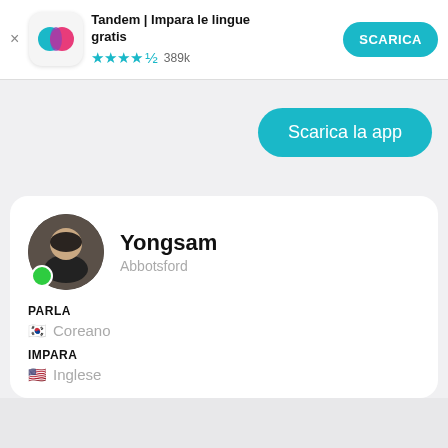[Figure (screenshot): Tandem app banner with logo, app name, star rating, and download button]
Tandem | Impara le lingue gratis
★★★★☆ 389k
SCARICA
Scarica la app
[Figure (photo): Profile photo of Yongsam, a young man in a black turtleneck, with a green online indicator dot]
Yongsam
Abbotsford
PARLA
🇰🇷 Coreano
IMPARA
🇺🇸 Inglese